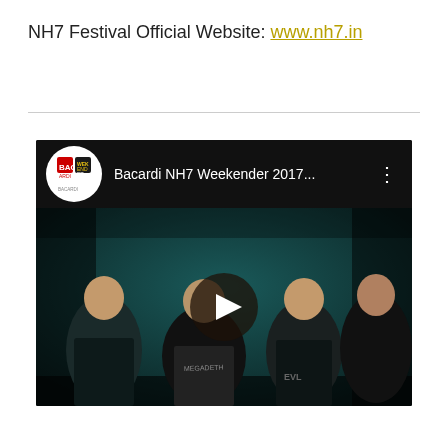NH7 Festival Official Website: www.nh7.in
[Figure (screenshot): YouTube video embed showing a music video thumbnail for 'Bacardi NH7 Weekender 2017...' with a group of musicians posing together against a dark teal background, with a play button overlay and channel logo.]